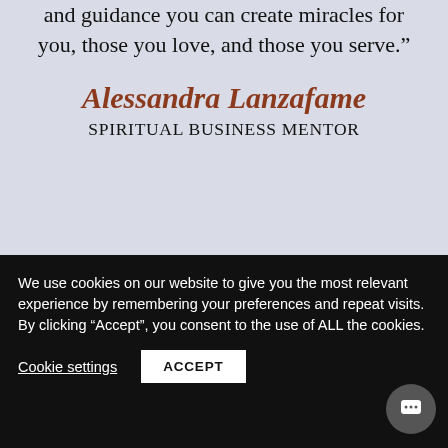and guidance you can create miracles for you, those you love, and those you serve.”
Alessandra Lanzafame
SPIRITUAL BUSINESS MENTOR
Name
We use cookies on our website to give you the most relevant experience by remembering your preferences and repeat visits. By clicking “Accept”, you consent to the use of ALL the cookies.
Cookie settings
ACCEPT